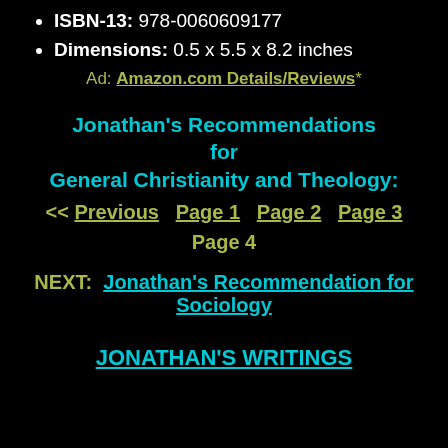ISBN-13: 978-0060609177
Dimensions: 0.5 x 5.5 x 8.2 inches
Ad: Amazon.com Details/Reviews*
Jonathan's Recommendations for General Christianity and Theology:
<< Previous   Page 1   Page 2   Page 3
Page 4
NEXT:  Jonathan's Recommendation for Sociology
JONATHAN'S WRITINGS